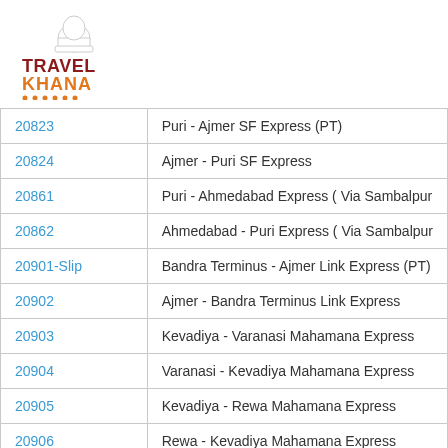[Figure (logo): TravelKhana logo with chef hat icon, TRAVEL in dark red/maroon bold, KHANA in orange bold, with orange dots underline]
| 20823 | Puri - Ajmer SF Express (PT) |
| 20824 | Ajmer - Puri SF Express |
| 20861 | Puri - Ahmedabad Express ( Via Sambalpur |
| 20862 | Ahmedabad - Puri Express ( Via Sambalpur |
| 20901-Slip | Bandra Terminus - Ajmer Link Express (PT) |
| 20902 | Ajmer - Bandra Terminus Link Express |
| 20903 | Kevadiya - Varanasi Mahamana Express |
| 20904 | Varanasi - Kevadiya Mahamana Express |
| 20905 | Kevadiya - Rewa Mahamana Express |
| 20906 | Rewa - Kevadiya Mahamana Express |